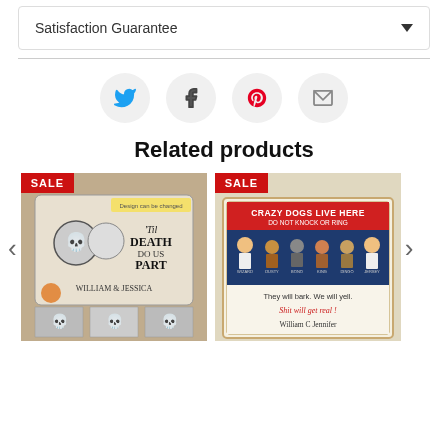Satisfaction Guarantee
[Figure (other): Social share icons: Twitter (blue bird), Facebook (f), Pinterest (red p), Email (envelope) in circular buttons]
Related products
[Figure (photo): Product image: 'Til Death Do Us Part skull couple doormat with WILLIAM & JESSICA personalization, with SALE badge and thumbnail variants at bottom]
[Figure (photo): Product image: 'Crazy Dogs Live Here - Do Not Knock or Ring' metal sign featuring cartoon dogs and humans, 'They will bark. We will yell. Shit will get real! William C Jennifer' with SALE badge]